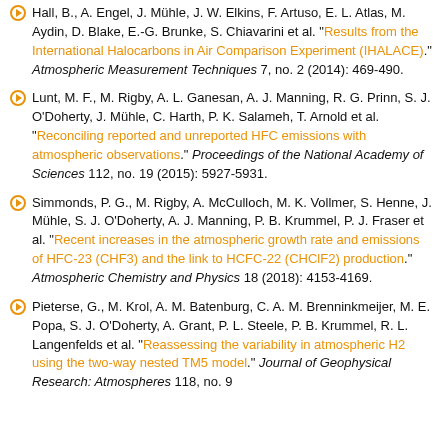Hall, B., A. Engel, J. Mühle, J. W. Elkins, F. Artuso, E. L. Atlas, M. Aydin, D. Blake, E.-G. Brunke, S. Chiavarini et al. "Results from the International Halocarbons in Air Comparison Experiment (IHALACE)." Atmospheric Measurement Techniques 7, no. 2 (2014): 469-490.
Lunt, M. F., M. Rigby, A. L. Ganesan, A. J. Manning, R. G. Prinn, S. J. O'Doherty, J. Mühle, C. Harth, P. K. Salameh, T. Arnold et al. "Reconciling reported and unreported HFC emissions with atmospheric observations." Proceedings of the National Academy of Sciences 112, no. 19 (2015): 5927-5931.
Simmonds, P. G., M. Rigby, A. McCulloch, M. K. Vollmer, S. Henne, J. Mühle, S. J. O'Doherty, A. J. Manning, P. B. Krummel, P. J. Fraser et al. "Recent increases in the atmospheric growth rate and emissions of HFC-23 (CHF3) and the link to HCFC-22 (CHClF2) production." Atmospheric Chemistry and Physics 18 (2018): 4153-4169.
Pieterse, G., M. Krol, A. M. Batenburg, C. A. M. Brenninkmeijer, M. E. Popa, S. J. O'Doherty, A. Grant, P. L. Steele, P. B. Krummel, R. L. Langenfelds et al. "Reassessing the variability in atmospheric H2 using the two-way nested TM5 model." Journal of Geophysical Research: Atmospheres 118, no. 9